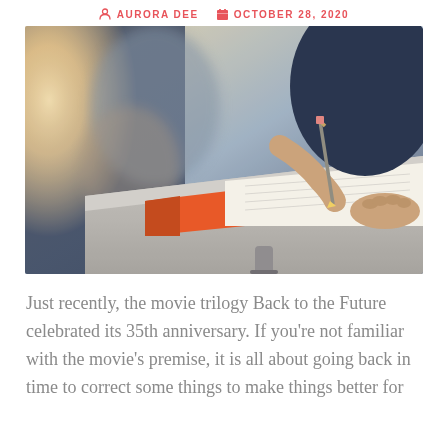AURORA DEE   OCTOBER 28, 2020
[Figure (photo): Close-up photo of a student writing at a school desk with a pencil, orange notebook, white paper. A second student blurred in background. Warm backlit classroom setting.]
Just recently, the movie trilogy Back to the Future celebrated its 35th anniversary. If you're not familiar with the movie's premise, it is all about going back in time to correct some things to make things better for